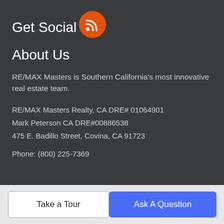Get Social
[Figure (illustration): Orange circle RSS feed icon]
About Us
RE/MAX Masters is Southern California's most innovative real estate team.
RE/MAX Masters Realty, CA DRE# 01064901
Mark Peterson CA DRE#00886538
475 E. Badillo Street, Covina, CA 91723
Phone: (800) 225-7369
Take a Tour
Ask A Question